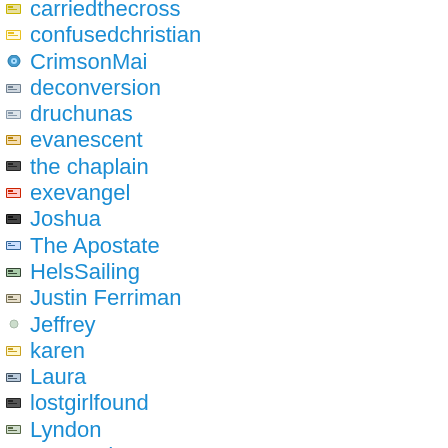carriedthecross
confusedchristian
CrimsonMai
deconversion
druchunas
evanescent
the chaplain
exevangel
Joshua
The Apostate
HelsSailing
Justin Ferriman
Jeffrey
karen
Laura
lostgirlfound
Lyndon
LeoPardus
mysteryofiniquity
neece